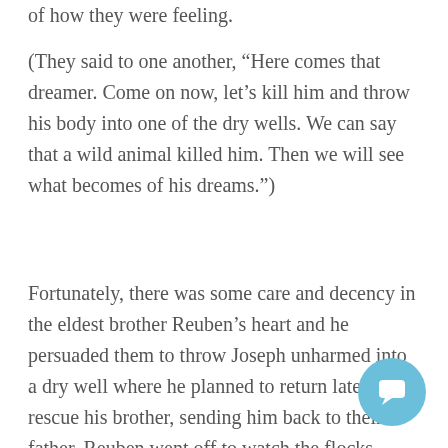of how they were feeling.
(They said to one another, “Here comes that dreamer. Come on now, let’s kill him and throw his body into one of the dry wells. We can say that a wild animal killed him. Then we will see what becomes of his dreams.”)
Fortunately, there was some care and decency in the eldest brother Reuben’s heart and he persuaded them to throw Joseph unharmed into a dry well where he planned to return later and rescue his brother, sending him back to their father. Reuben went off to watch the flocks. Judah, another of the older brothers, also had some conscience about killing Joseph. He realised how